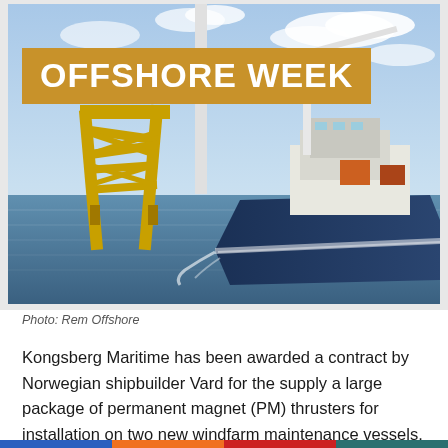[Figure (illustration): Offshore vessel near a yellow wind turbine foundation in open sea, with crane visible on the ship deck. Sky with clouds in background. 'OFFSHORE WEEK' text banner overlaid on the upper-left of the image.]
OFFSHORE WEEK
Photo: Rem Offshore
Kongsberg Maritime has been awarded a contract by Norwegian shipbuilder Vard for the supply a large package of permanent magnet (PM) thrusters for installation on two new windfarm maintenance vessels.